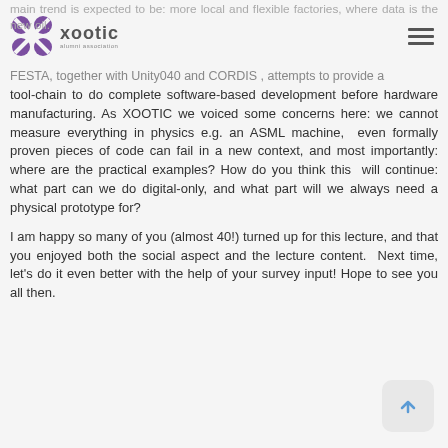xootic alumni association
main trend is expected to be: more local and flexible factories, where data is the new oil.
FESTA, together with Unity040 and CORDIS , attempts to provide a tool-chain to do complete software-based development before hardware manufacturing. As XOOTIC we voiced some concerns here: we cannot measure everything in physics e.g. an ASML machine,  even formally proven pieces of code can fail in a new context, and most importantly: where are the practical examples? How do you think this  will continue: what part can we do digital-only, and what part will we always need a physical prototype for?
I am happy so many of you (almost 40!) turned up for this lecture, and that you enjoyed both the social aspect and the lecture content.  Next time, let's do it even better with the help of your survey input! Hope to see you all then.